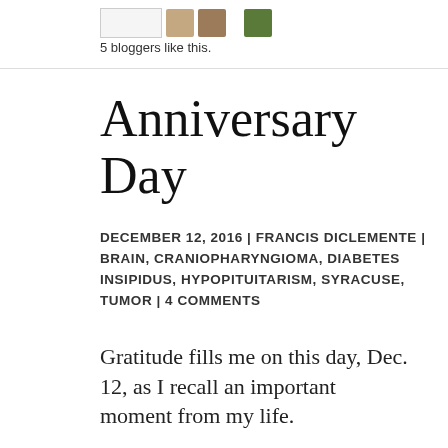[Figure (other): Like button box and three avatar images for blog post likes]
5 bloggers like this.
Anniversary Day
DECEMBER 12, 2016 | FRANCIS DICLEMENTE | BRAIN, CRANIOPHARYNGIOMA, DIABETES INSIPIDUS, HYPOPITUITARISM, SYRACUSE, TUMOR | 4 COMMENTS
Gratitude fills me on this day, Dec. 12, as I recall an important moment from my life.